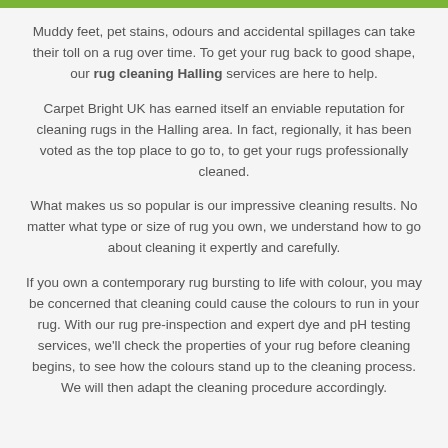Muddy feet, pet stains, odours and accidental spillages can take their toll on a rug over time. To get your rug back to good shape, our rug cleaning Halling services are here to help.
Carpet Bright UK has earned itself an enviable reputation for cleaning rugs in the Halling area. In fact, regionally, it has been voted as the top place to go to, to get your rugs professionally cleaned.
What makes us so popular is our impressive cleaning results. No matter what type or size of rug you own, we understand how to go about cleaning it expertly and carefully.
If you own a contemporary rug bursting to life with colour, you may be concerned that cleaning could cause the colours to run in your rug. With our rug pre-inspection and expert dye and pH testing services, we'll check the properties of your rug before cleaning begins, to see how the colours stand up to the cleaning process. We will then adapt the cleaning procedure accordingly.